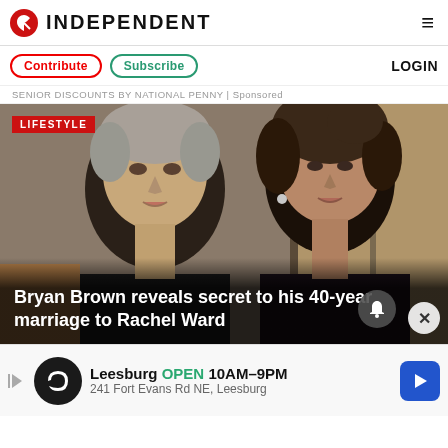INDEPENDENT
Contribute | Subscribe | LOGIN
SENIOR DISCOUNTS BY NATIONAL PENNY | Sponsored
[Figure (photo): Bryan Brown and Rachel Ward couple photo with LIFESTYLE badge overlay and headline: Bryan Brown reveals secret to his 40-year marriage to Rachel Ward]
Leesburg OPEN 10AM–9PM 241 Fort Evans Rd NE, Leesburg